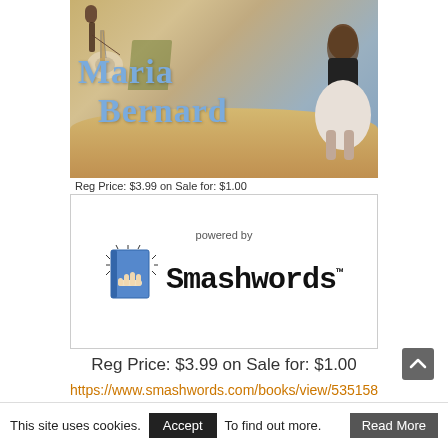[Figure (illustration): Book cover image for Maria Bernard showing a beach scene with a guitarist silhouette on the left and a woman sitting facing the ocean on the right, with the author name 'Maria Bernard' in blue stylized text]
Reg Price: $3.99 on Sale for: $1.00
[Figure (logo): Smashwords logo with 'powered by' text above, showing a hand holding a book icon and the word Smashwords in bold monospace font with TM mark]
Reg Price: $3.99 on Sale for: $1.00
https://www.smashwords.com/books/view/535158
Use the code RA575 at checkout for 75% off during